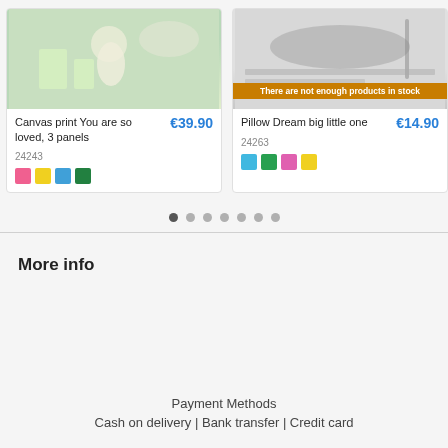[Figure (photo): Product card: Canvas print You are so loved, 3 panels with pastel nursery room image]
[Figure (photo): Product card: Pillow Dream big little one with grey product image and out-of-stock banner]
[Figure (other): Carousel pagination dots, 7 dots with first one active]
More info
Payment Methods
Cash on delivery | Bank transfer | Credit card